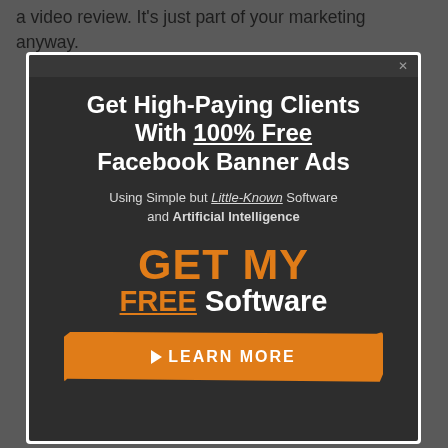a video review. It's just part of your marketing anyway.
[Figure (infographic): Dark modal popup advertisement: 'Get High-Paying Clients With 100% Free Facebook Banner Ads — Using Simple but Little-Known Software and Artificial Intelligence — GET MY FREE Software — LEARN MORE button']